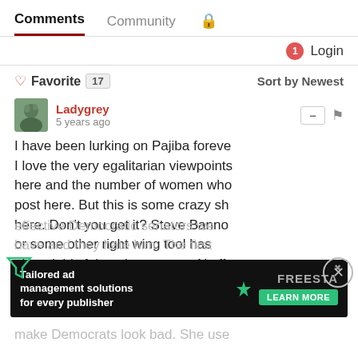Comments  Community  🔒
1  Login
♡ Favorite  17   Sort by Newest
Ladygrey
5 years ago
I have been lurking on Pajiba foreve I love the very egalitarian viewpoints here and the number of women who post here. But this is some crazy sh here. Don't you get it? Steve Bannon or some other right wing tool has ginned this fairy tale up to get Al off Jeff Sessions. He is one of the most effective Democratic senators we have and they hate him. The first make Democrats look bad. She use
[Figure (screenshot): Advertisement banner: Tailored ad management solutions for every publisher - FREESTA, LEARN MORE button]
make Democrats look bad. She use